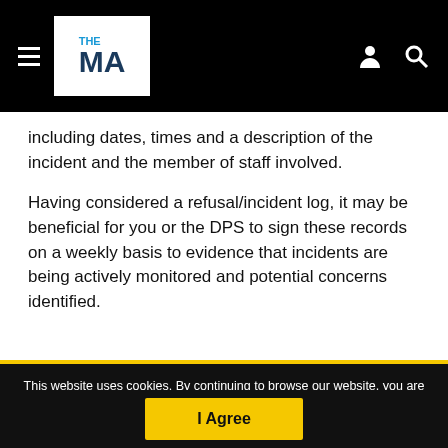THE MA [logo] navigation bar
including dates, times and a description of the incident and the member of staff involved.
Having considered a refusal/incident log, it may be beneficial for you or the DPS to sign these records on a weekly basis to evidence that incidents are being actively monitored and potential concerns identified.
This website uses cookies. By continuing to browse our website, you are agreeing to our use of cookies. You can learn more about cookies by visiting our privacy & cookies policy page.
I Agree